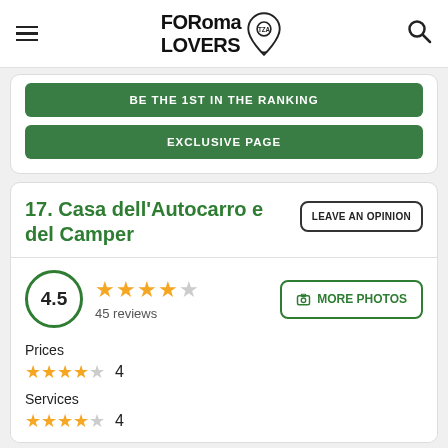FORoma LOVERS
BE THE 1ST IN THE RANKING
EXCLUSIVE PAGE
17. Casa dell'Autocarro e del Camper
LEAVE AN OPINION
4.5 — 45 reviews
MORE PHOTOS
Prices
4
Services
4